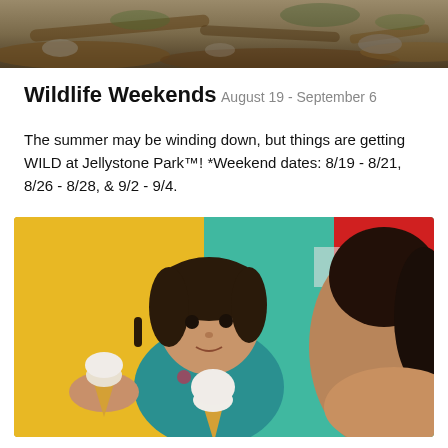[Figure (photo): Top portion of outdoor nature/wooded scene photo, partially cropped, showing rocks, logs, and ground cover]
Wildlife Weekends
August 19 - September 6
The summer may be winding down, but things are getting WILD at Jellystone Park™! *Weekend dates: 8/19 - 8/21, 8/26 - 8/28, & 9/2 - 9/4.
[Figure (photo): Two children eating ice cream cones outdoors, one in a teal floral swimsuit holding a waffle cone, another child visible beside her, colorful background with yellow and teal elements]